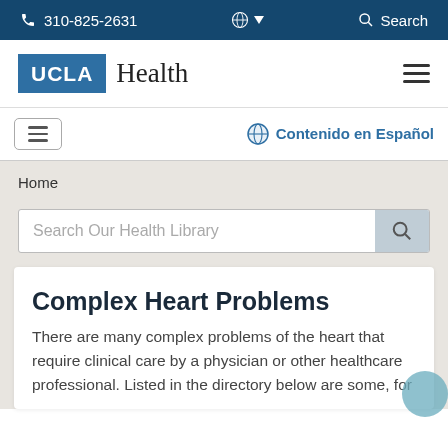310-825-2631  Search
[Figure (logo): UCLA Health logo with blue UCLA box and Health text in serif font]
Contenido en Español
Home
Search Our Health Library
Complex Heart Problems
There are many complex problems of the heart that require clinical care by a physician or other healthcare professional. Listed in the directory below are some, for